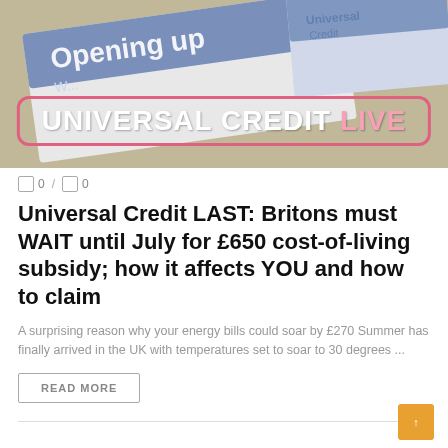[Figure (photo): Photo of Universal Credit document/booklet on a table with 'Opening up' text visible, overlaid with a pink-bordered badge reading 'UNIVERSAL CREDIT LIVE']
0 / 0
Universal Credit LAST: Britons must WAIT until July for £650 cost-of-living subsidy; how it affects YOU and how to claim
A surprising reason why your energy bills could soar by £270 Summer has finally arrived in the UK with temperatures set to soar to 30 degrees ...
READ MORE